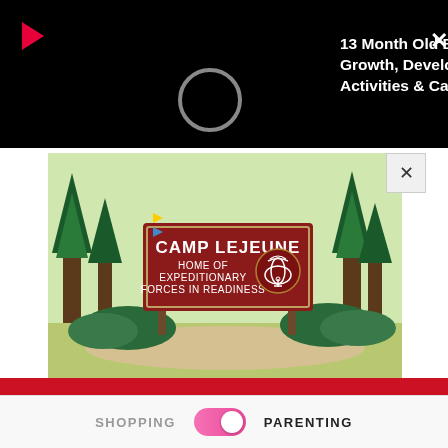[Figure (screenshot): Black video overlay bar with play button (red triangle), loading circle, title text '13 Month Old Baby - Growth, Development, Activities & Care Tips', and close X button]
13 Month Old Baby - Growth, Development, Activities & Care Tips
[Figure (illustration): Camp Lejeune sign illustration with trees and landscape background. Sign reads: CAMP LEJEUNE HOME OF EXPEDITIONARY FORCES IN READINESS with USMC eagle globe anchor emblem]
TOXIC WATER LAWSUIT
GET HELP TODAY
Toxic drinking water at Camp Lejeune poisoned Marines and their families for over three decades.
Trulaw Attorneys
SHOPPING    PARENTING